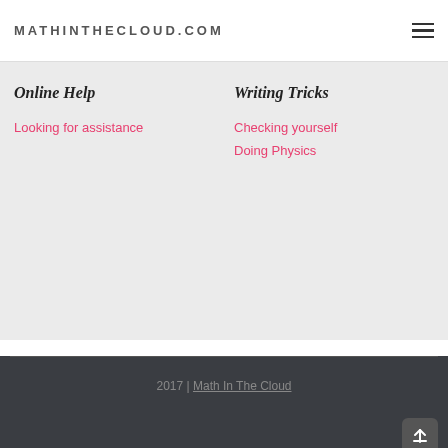MATHINTHECLOUD.COM
Online Help
Looking for assistance
Writing Tricks
Checking yourself
Doing Physics
2017 | Math In The Cloud